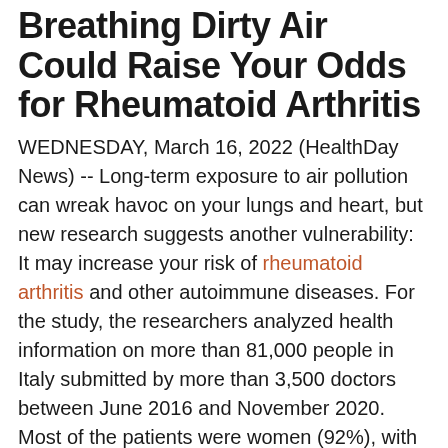Breathing Dirty Air Could Raise Your Odds for Rheumatoid Arthritis
WEDNESDAY, March 16, 2022 (HealthDay News) -- Long-term exposure to air pollution can wreak havoc on your lungs and heart, but new research suggests another vulnerability: It may increase your risk of rheumatoid arthritis and other autoimmune diseases. For the study, the researchers analyzed health information on more than 81,000 people in Italy submitted by more than 3,500 doctors between June 2016 and November 2020. Most of the patients were women (92%), with an average age of 65. More than 9,700 (12%) of the patients were diagnosed with an autoimmune disease — including rheumatoid arthritis, lupus, inflammatory bowel diseases (such as